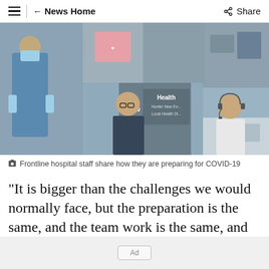≡  ← News Home   Share
[Figure (photo): Collage of frontline hospital staff photos. Left panel shows a healthcare worker in blue PPE and mask. Center shows a woman with glasses in front of an NSW Health / Hunter New England Local Health District sign. Right panel shows a woman wearing a headset at a desk in an office setting.]
Frontline hospital staff share how they are preparing for COVID-19
"It is bigger than the challenges we would normally face, but the preparation is the same, and the team work is the same, and the